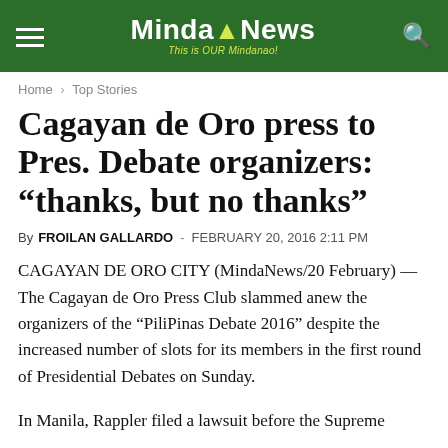MindaNews — This is OUR Mindanao!
Home › Top Stories
Cagayan de Oro press to Pres. Debate organizers: “thanks, but no thanks”
By FROILAN GALLARDO - FEBRUARY 20, 2016 2:11 PM
CAGAYAN DE ORO CITY (MindaNews/20 February) — The Cagayan de Oro Press Club slammed anew the organizers of the “PiliPinas Debate 2016” despite the increased number of slots for its members in the first round of Presidential Debates on Sunday.
In Manila, Rappler filed a lawsuit before the Supreme